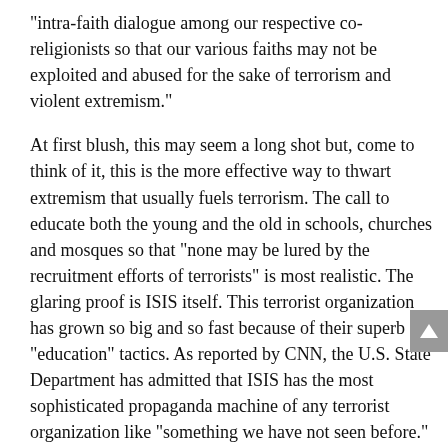“intra-faith dialogue among our respective co-religionists so that our various faiths may not be exploited and abused for the sake of terrorism and violent extremism.”
At first blush, this may seem a long shot but, come to think of it, this is the more effective way to thwart extremism that usually fuels terrorism. The call to educate both the young and the old in schools, churches and mosques so that “none may be lured by the recruitment efforts of terrorists” is most realistic. The glaring proof is ISIS itself. This terrorist organization has grown so big and so fast because of their superb “education” tactics. As reported by CNN, the U.S. State Department has admitted that ISIS has the most sophisticated propaganda machine of any terrorist organization like “something we have not seen before.” They even harness massive use of social media in order to secure widespread following.
In one of their social media posts, a certain Shiraz Tariq of Copenhagen convincingly argued, “No sane man kills for fun. Not even his enemies. But implementing as